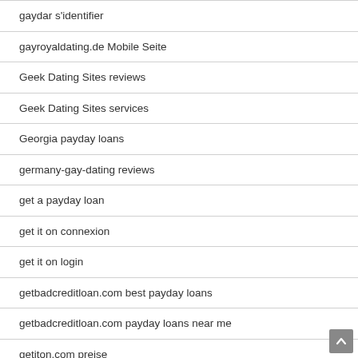gaydar s'identifier
gayroyaldating.de Mobile Seite
Geek Dating Sites reviews
Geek Dating Sites services
Georgia payday loans
germany-gay-dating reviews
get a payday loan
get it on connexion
get it on login
getbadcreditloan.com best payday loans
getbadcreditloan.com payday loans near me
getiton.com preise